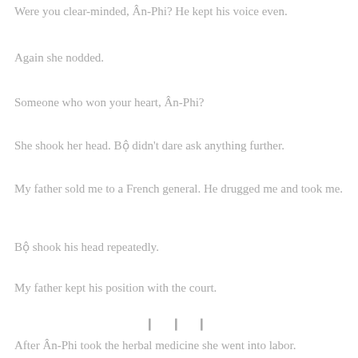Were you clear-minded, Ân-Phi? He kept his voice even.
Again she nodded.
Someone who won your heart, Ân-Phi?
She shook her head. Bộ didn't dare ask anything further.
My father sold me to a French general. He drugged me and took me.
Bộ shook his head repeatedly.
My father kept his position with the court.
❙ ❙ ❙
After Ân-Phi took the herbal medicine she went into labor.